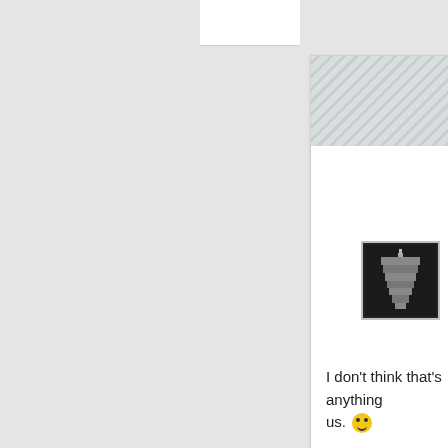[Figure (screenshot): Screenshot of a web forum/comment interface. Top portion shows a clipped white panel with diagonal stripe header and a small black-and-white tower/pagoda avatar image. Comment text reads: I don't think that's anything [clipped] us. [smiley emoji]. Bottom portion shows another comment section with a diagonal stripe bar labeled 'Su[bscribe]' and a user avatar photo (person's face). Comment text reads: I'm greedy. I want both. I have no shame. Great show, guys.]
I don't think that's anything us. 🙂
I'm greedy. I want both. I have no shame.

Great show, guys.